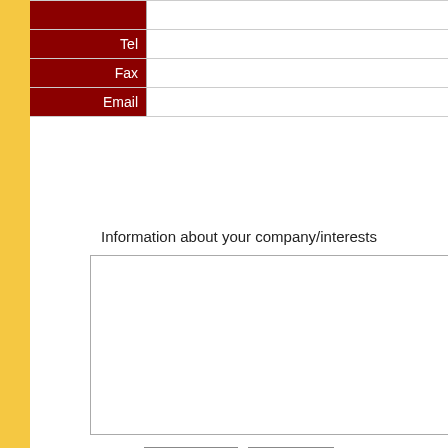| Field | Value |
| --- | --- |
|  |  |
| Tel |  |
| Fax |  |
| Email |  |
Information about your company/interests
[Figure (other): Large text area input box for company/interests information]
Submit   Reset
Site navigation